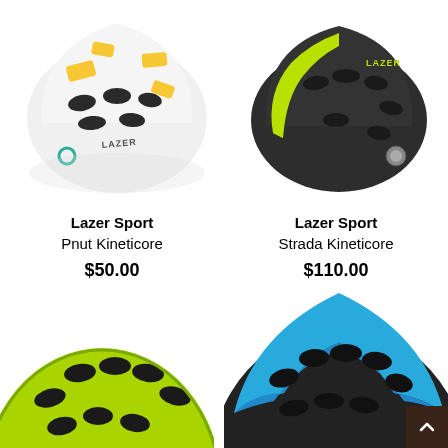[Figure (photo): Lazer Sport Pnut Kineticore children's bicycle helmet, white with yellow construction vehicle/excavator pattern and black vents]
[Figure (photo): Lazer Sport Strada Kineticore adult bicycle helmet, matte black with neon yellow/green accents and multiple vents]
Lazer Sport
Pnut Kineticore
$50.00
Lazer Sport
Strada Kineticore
$110.00
[Figure (photo): Lazer Sport bicycle helmet in bright neon yellow-green, partial/cropped view showing top and vents]
[Figure (photo): Lazer Sport bicycle helmet in matte black with blue stripes, partial/cropped view showing top and vents]